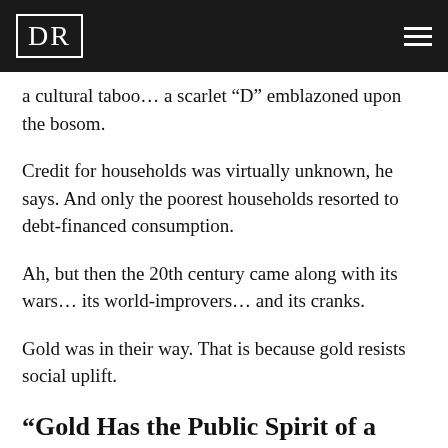DR
a cultural taboo… a scarlet “D” emblazoned upon the bosom.
Credit for households was virtually unknown, he says. And only the poorest households resorted to debt-financed consumption.
Ah, but then the 20th century came along with its wars… its world-improvers… and its cranks.
Gold was in their way. That is because gold resists social uplift.
“Gold Has the Public Spirit of a Cat”
Gold moves at its own leisurely pace. The greater